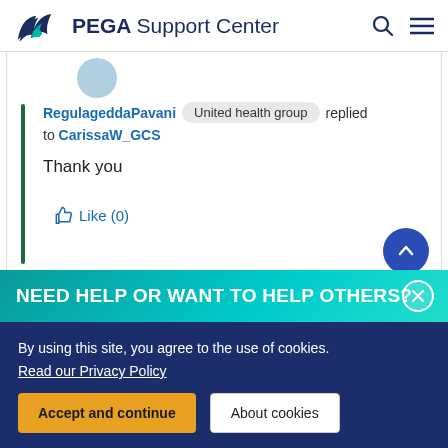PEGA Support Center
RegulageddaPavani  United health group  replied to CarissaW_GCS
Thank you
Like (0)
NEED HELP OR WANT TO HELP OTHERS?
By using this site, you agree to the use of cookies. Read our Privacy Policy
Accept and continue   About cookies